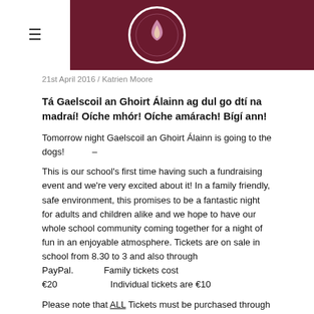≡  [Logo]
21st April 2016 / Katrien Moore
Tá Gaelscoil an Ghoirt Álainn ag dul go dtí na madraí! Oíche mhór! Oíche amárach! Bígí ann!
Tomorrow night Gaelscoil an Ghoirt Álainn is going to the dogs!    –
This is our school's first time having such a fundraising event and we're very excited about it! In a family friendly, safe environment, this promises to be a fantastic night for adults and children alike and we hope to have our whole school community coming together for a night of fun in an enjoyable atmosphere. Tickets are on sale in school from 8.30 to 3 and also through PayPal.          Family tickets cost €20                    Individual tickets are €10
Please note that ALL Tickets must be purchased through